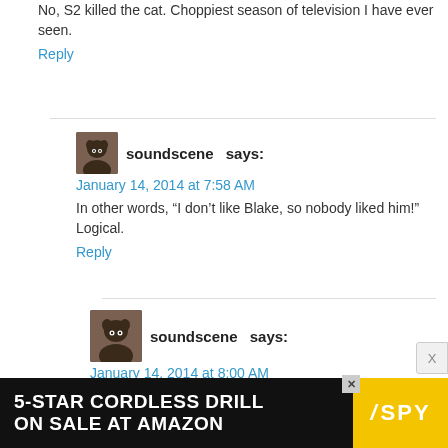No, S2 killed the cat. Choppiest season of television I have ever seen.
Reply
soundscene says:
January 14, 2014 at 7:58 AM
In other words, “I don't like Blake, so nobody liked him!” Logical.
Reply
soundscene says:
January 14, 2014 at 8:00 AM
Obviously I meant Blaine. I dropped caffeine from my diet.
Reply
[Figure (screenshot): Advertisement banner: 5-STAR CORDLESS DRILL ON SALE AT AMAZON with SPY logo on yellow background]